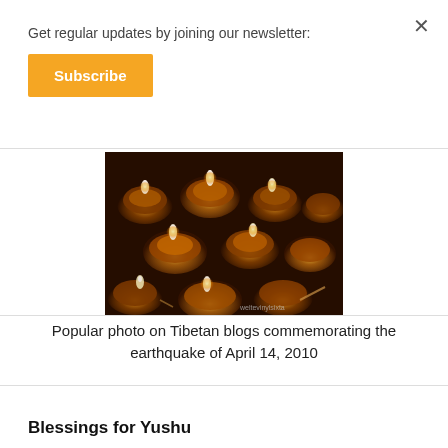Get regular updates by joining our newsletter:
Subscribe
[Figure (photo): Photo of several metallic oil lamps or butter lamps with flames, arranged in rows, dark background with warm golden tones. Watermark visible in bottom right corner.]
Popular photo on Tibetan blogs commemorating the earthquake of April 14, 2010
Blessings for Yushu